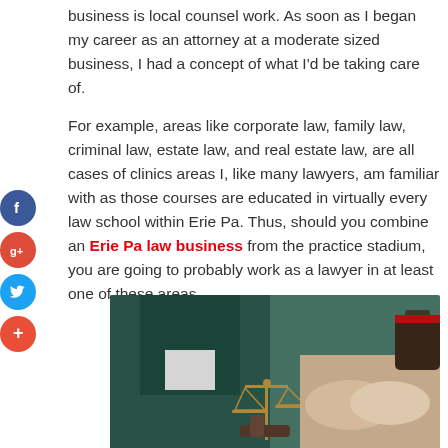business is local counsel work. As soon as I began my career as an attorney at a moderate sized business, I had a concept of what I'd be taking care of.
For example, areas like corporate law, family law, criminal law, estate law, and real estate law, are all cases of clinics areas I, like many lawyers, am familiar with as those courses are educated in virtually every law school within Erie Pa. Thus, should you combine an Erie Pa law business from the practice stadium, you are going to probably work as a lawyer in at least one of these areas.
[Figure (photo): Two people in business attire shaking hands across a table with a scales of justice figurine and a gavel visible in the foreground, a briefcase in the background.]